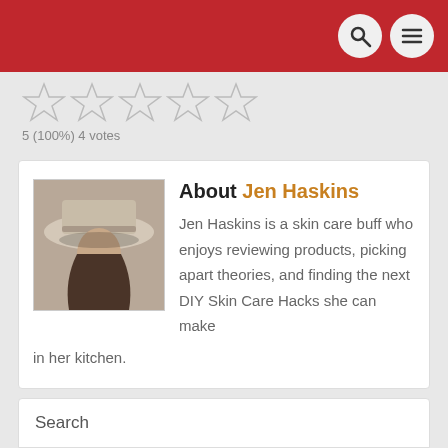5 (100%) 4 votes
[Figure (photo): Author photo of Jen Haskins — sepia-toned portrait of a woman wearing a wide-brimmed hat, with long wavy hair]
About Jen Haskins
Jen Haskins is a skin care buff who enjoys reviewing products, picking apart theories, and finding the next DIY Skin Care Hacks she can make in her kitchen.
Search